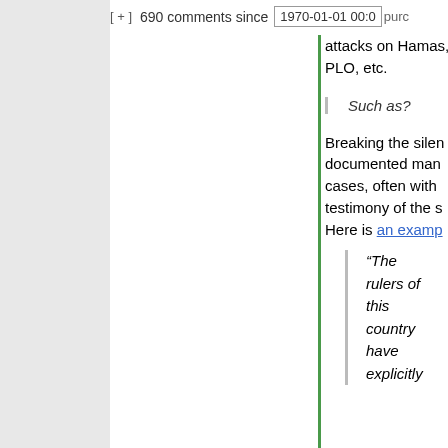[ + ] 690 comments since 1970-01-01 00:0
attacks on Hamas, PLO, etc.
Such as?
Breaking the silen documented man cases, often with testimony of the s Here is an example
“The rulers of this country have explicitly